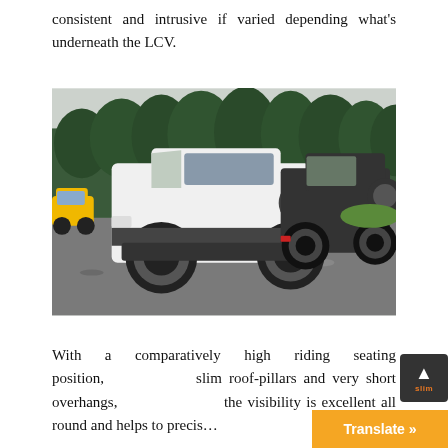consistent and intrusive if varied depending what's underneath the LCV.
[Figure (photo): Two Suzuki Jimny SUVs parked on a gravel area. A white Jimny is in the foreground and a black Jimny is behind it. Trees and greenery are visible in the background. A yellow car is visible in the far left.]
With a comparatively high riding seating position, slim roof-pillars and very short overhangs, the visibility is excellent all round and helps to precis…